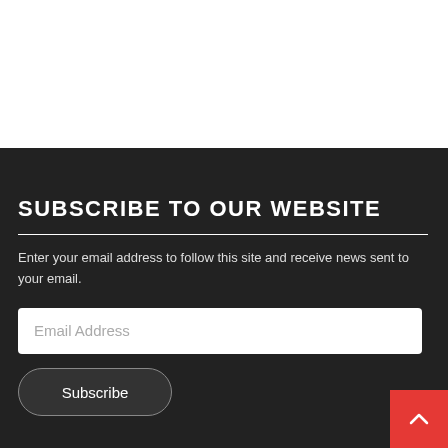SUBSCRIBE TO OUR WEBSITE
Enter your email address to follow this site and receive news sent to your email.
Email Address
Subscribe